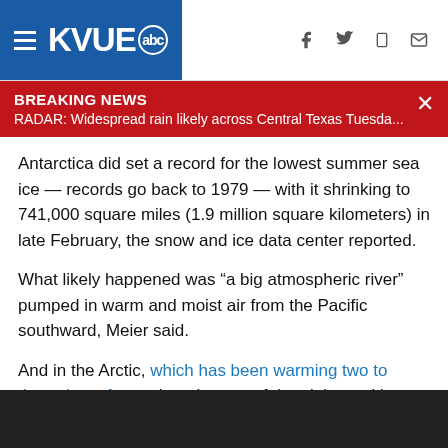KVUE abc
BREAKING NEWS
RADAR: Widespread rain likely across Central Texas Tuesda...
Antarctica did set a record for the lowest summer sea ice — records go back to 1979 — with it shrinking to 741,000 square miles (1.9 million square kilometers) in late February, the snow and ice data center reported.
What likely happened was “a big atmospheric river” pumped in warm and moist air from the Pacific southward, Meier said.
And in the Arctic, which has been warming two to three times faster than the rest of the globe and is considered vulnerable to climate change, warm Atlantic air was coming north off the coast of Greenland.
[Figure (photo): Dark image strip at bottom of article page]